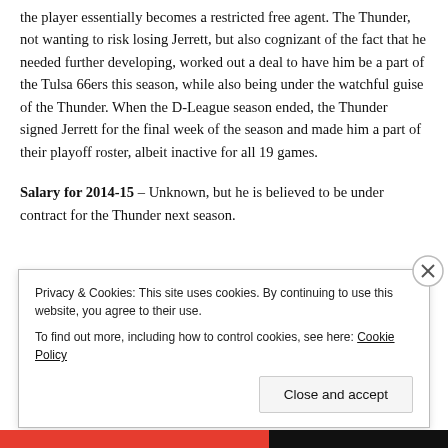the player essentially becomes a restricted free agent. The Thunder, not wanting to risk losing Jerrett, but also cognizant of the fact that he needed further developing, worked out a deal to have him be a part of the Tulsa 66ers this season, while also being under the watchful guise of the Thunder. When the D-League season ended, the Thunder signed Jerrett for the final week of the season and made him a part of their playoff roster, albeit inactive for all 19 games.
Salary for 2014-15 – Unknown, but he is believed to be under contract for the Thunder next season.
Privacy & Cookies: This site uses cookies. By continuing to use this website, you agree to their use. To find out more, including how to control cookies, see here: Cookie Policy